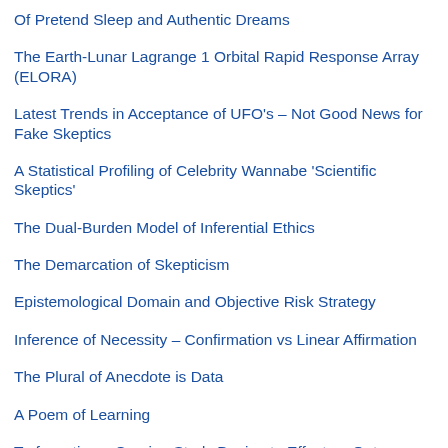Of Pretend Sleep and Authentic Dreams
The Earth-Lunar Lagrange 1 Orbital Rapid Response Array (ELORA)
Latest Trends in Acceptance of UFO's – Not Good News for Fake Skeptics
A Statistical Profiling of Celebrity Wannabe 'Scientific Skeptics'
The Dual-Burden Model of Inferential Ethics
The Demarcation of Skepticism
Epistemological Domain and Objective Risk Strategy
Inference of Necessity – Confirmation vs Linear Affirmation
The Plural of Anecdote is Data
A Poem of Learning
Torfuscation – Gaming Study Design to Effect an Outcome
The Peer Principle